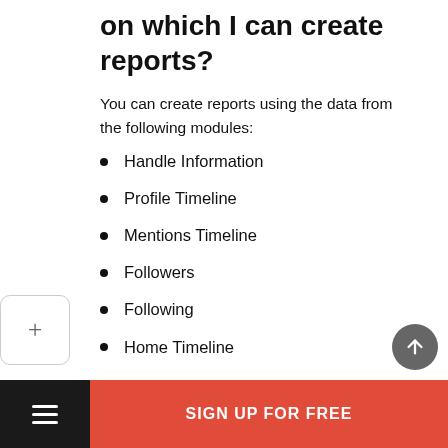on which I can create reports?
You can create reports using the data from the following modules:
Handle Information
Profile Timeline
Mentions Timeline
Followers
Following
Home Timeline
2. Can I create reports using the